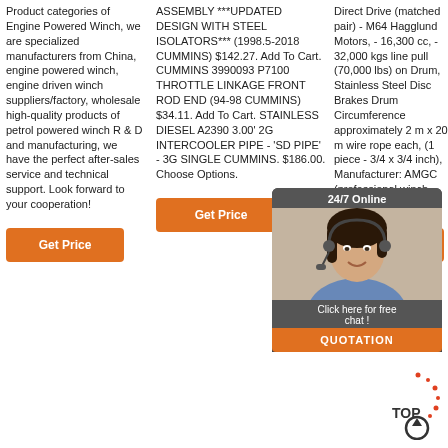Product categories of Engine Powered Winch, we are specialized manufacturers from China, engine powered winch, engine driven winch suppliers/factory, wholesale high-quality products of petrol powered winch R & D and manufacturing, we have the perfect after-sales service and technical support. Look forward to your cooperation!
ASSEMBLY ***UPDATED DESIGN WITH STEEL ISOLATORS*** (1998.5-2018 CUMMINS) $142.27. Add To Cart. CUMMINS 3990093 P7100 THROTTLE LINKAGE FRONT ROD END (94-98 CUMMINS) $34.11. Add To Cart. STAINLESS DIESEL A2390 3.00' 2G INTERCOOLER PIPE - 'SD PIPE' - 3G SINGLE CUMMINS. $186.00. Choose Options.
Direct Drive (matched pair) - M64 Hagglund Motors, - 16,300 cc, - 32,000 kgs line pull (70,000 lbs) on Drum, Stainless Steel Disc Brakes Drum Circumference approximately 2 m x 20 m wire rope each, (1 piece - 3/4 x 3/4 inch), Manufacturer: AMGC (professional winch manufacturers)
[Figure (illustration): Chat widget showing a woman with headset, '24/7 Online' label, 'Click here for free chat!' text, and orange QUOTATION button]
[Figure (illustration): Orange TOP arrow button pointing up]
Get Price
Get Price
Get Price